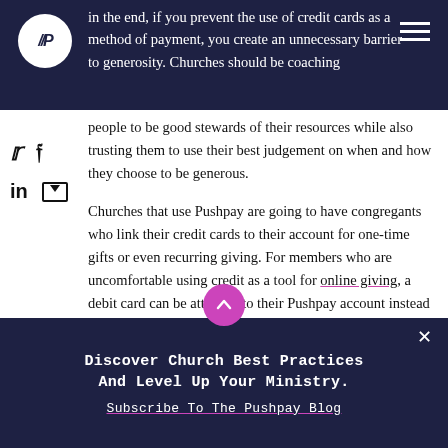[Figure (logo): Pushpay logo: white circle with // P text on dark navy header bar]
in the end, if you prevent the use of credit cards as a method of payment, you create an unnecessary barrier to generosity. Churches should be coaching people to be good stewards of their resources while also trusting them to use their best judgement on when and how they choose to be generous.
Churches that use Pushpay are going to have congregants who link their credit cards to their account for one-time gifts or even recurring giving. For members who are uncomfortable using credit as a tool for online giving, a debit card can be attached to their Pushpay account instead and the gift can come straight from their checking account.
Discover Church Best Practices And Level Up Your Ministry.
Subscribe To The Pushpay Blog